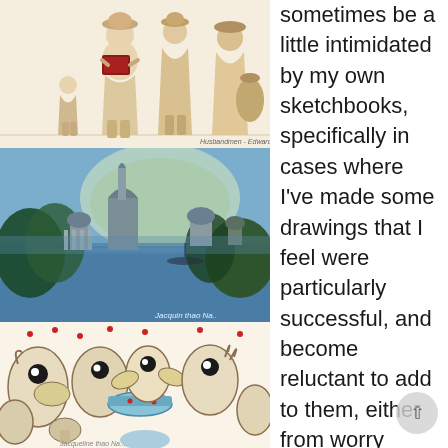[Figure (illustration): Watercolor/ink illustration of people reading books, including figures in traditional garb; light beige background with caption at bottom right]
[Figure (illustration): Watercolor painting of Indian temple architecture with domes and minarets surrounded by lush blue-green tropical vegetation and misty atmosphere; artist signature at bottom right]
[Figure (illustration): Pen and ink with watercolor illustration of fantastical cartoon creatures gathered around a table; light beige background]
sometimes be a little intimidated by my own sketchbooks, specifically in cases where I've made some drawings that I feel were particularly successful, and become reluctant to add to them, either from worry about carrying a sketchbook with drawings I like in it around